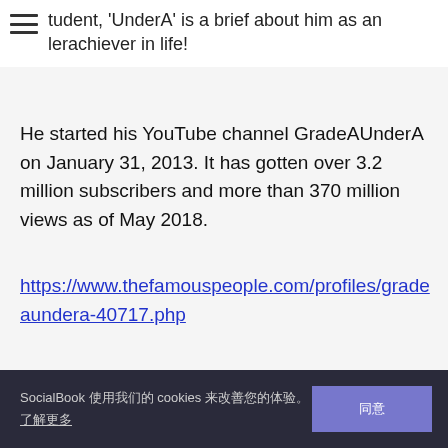tudent, 'UnderA' is a brief about him as an lerachiever in life!
He started his YouTube channel GradeAUnderA on January 31, 2013. It has gotten over 3.2 million subscribers and more than 370 million views as of May 2018.
https://www.thefamouspeople.com/profiles/gradeaundera-40717.php
SocialBook 使用cookies 来改善您的体验。了解更多